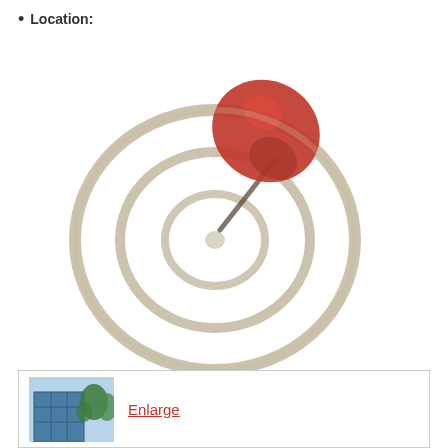Location:
[Figure (illustration): A map pin / location marker icon: concentric circular target rings in beige/tan color with a red map pin pushed into the upper-right area of the target, with a diagonal needle. The image is blurred/soft-focus style.]
[Figure (photo): A small thumbnail photo of a building exterior with blue glass facade and trees, shown at bottom of page inside a white box. Next to the photo is an orange/red 'Enlarge' link text.]